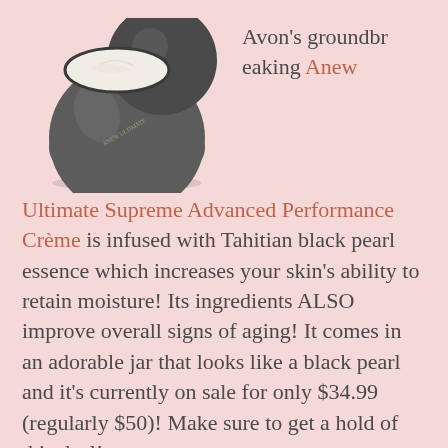[Figure (photo): A spherical dark gray/charcoal luxury cream jar with lid open, showing white cream inside. The jar resembles a black pearl. Product is Avon ANEW Ultimate.]
Avon's groundbreaking Anew Ultimate Supreme Advanced Performance Crème is infused with Tahitian black pearl essence which increases your skin's ability to retain moisture! Its ingredients ALSO improve overall signs of aging! It comes in an adorable jar that looks like a black pearl and it's currently on sale for only $34.99 (regularly $50)! Make sure to get a hold of this deal!